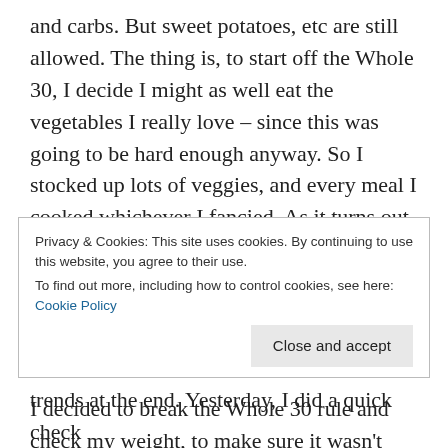and carbs. But sweet potatoes, etc are still allowed. The thing is, to start off the Whole 30, I decide I might as well eat the vegetables I really love – since this was going to be hard enough anyway. So I stocked up lots of veggies, and every meal I cooked whichever I fancied. As it turns out, that has included butternut squash for a couple of meals, but mostly mushrooms, courgettes, broccoli, onions, asparagus and leeks – maybe a bit low in carbs.

I decided to break the Whole 30 rule and check my weight, to make sure it wasn't dropping too quickly.
Privacy & Cookies: This site uses cookies. By continuing to use this website, you agree to their use.
To find out more, including how to control cookies, see here: Cookie Policy
Close and accept
trends at the end. Yesterday, I did a quick check